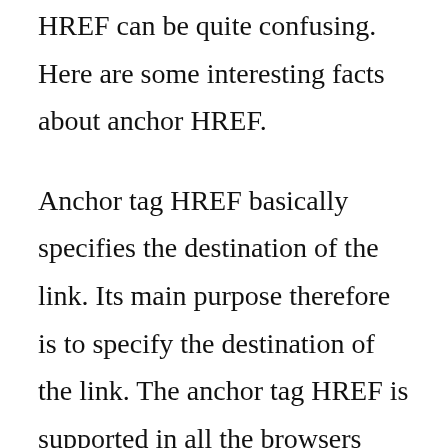HREF can be quite confusing. Here are some interesting facts about anchor HREF.
Anchor tag HREF basically specifies the destination of the link. Its main purpose therefore is to specify the destination of the link. The anchor tag HREF is supported in all the browsers that we have today. It is supported in Chrome, Explorer, Firefox and Opera. This is one of the reasons why many programmers use the anchor tag HREF, aside